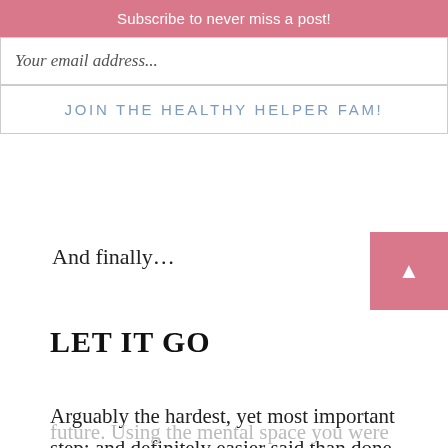Subscribe to never miss a post!
Your email address...
JOIN THE HEALTHY HELPER FAM!
And finally…
LET IT GO
Arguably the hardest, yet most important step; and definitely easier said than done. Whatever happened with you and your friend, or really in ANY negative situation in life, you'll feel 10 times better once you stop dwelling on what was and start putting your energy towards your future. Using the mental space you were